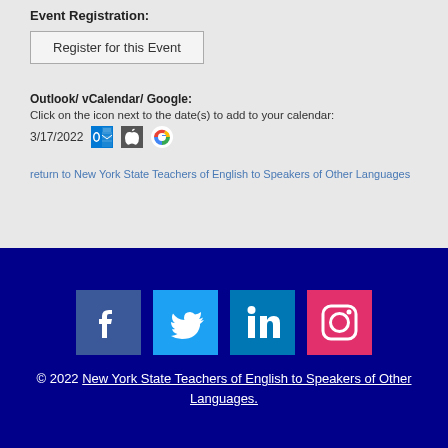Event Registration:
Register for this Event
Outlook/ vCalendar/ Google:
Click on the icon next to the date(s) to add to your calendar:
3/17/2022
return to New York State Teachers of English to Speakers of Other Languages
[Figure (logo): Social media icons: Facebook, Twitter, LinkedIn, Instagram on dark blue background]
© 2022 New York State Teachers of English to Speakers of Other Languages.